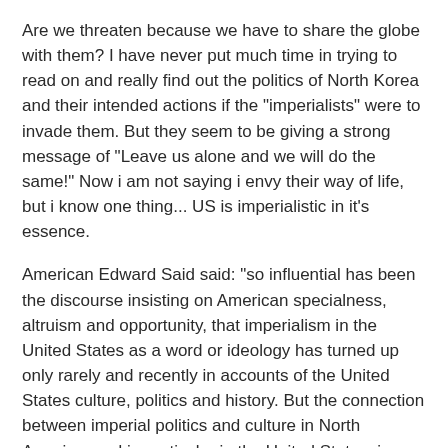Are we threaten because we have to share the globe with them? I have never put much time in trying to read on and really find out the politics of North Korea and their intended actions if the "imperialists" were to invade them. But they seem to be giving a strong message of "Leave us alone and we will do the same!" Now i am not saying i envy their way of life, but i know one thing... US is imperialistic in it's essence.
American Edward Said said: "so influential has been the discourse insisting on American specialness, altruism and opportunity, that imperialism in the United States as a word or ideology has turned up only rarely and recently in accounts of the United States culture, politics and history. But the connection between imperial politics and culture in North America, and in particular in the United States, is astonishingly direct. az
Reply ↲